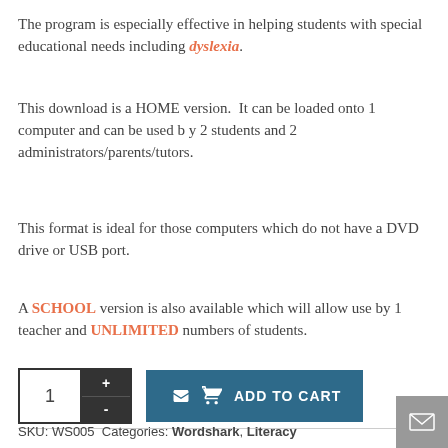The program is especially effective in helping students with special educational needs including dyslexia.
This download is a HOME version.  It can be loaded onto 1 computer and can be used b y 2 students and 2 administrators/parents/tutors.
This format is ideal for those computers which do not have a DVD drive or USB port.
A SCHOOL version is also available which will allow use by 1 teacher and UNLIMITED numbers of students.
[Figure (other): Add to cart widget with quantity selector (showing 1) with + and - buttons, and a blue ADD TO CART button with cart icon]
SKU: WS005  Categories: Wordshark, Literacy